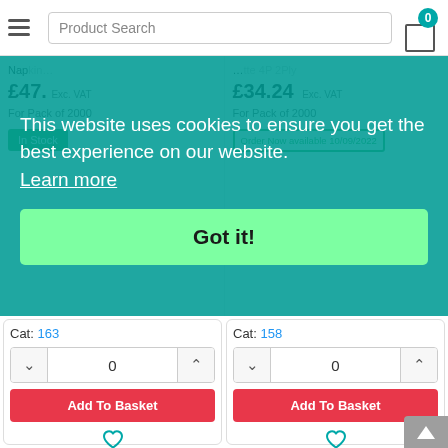Product Search
This website uses cookies to ensure you get the best experience on our website. Learn more
Got it!
£47._ Exc. VAT For Pack of 2000
£34.24 Exc. VAT For Pack of 2000
In Stock
Order Now available 10/09/2022
Cat: 163
0
Add To Basket
Cat: 158
0
Add To Basket
[Figure (photo): White tissue/napkin product photo, left card]
[Figure (photo): White tissue/napkin product photo, right card]